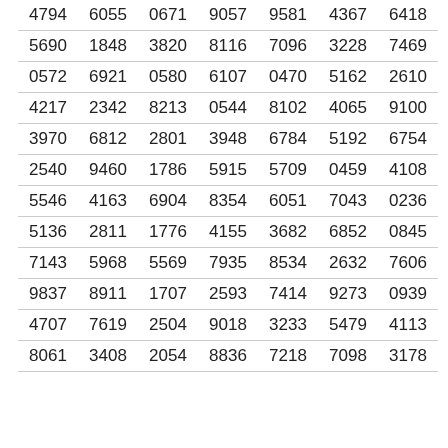| 4794 | 6055 | 0671 | 9057 | 9581 | 4367 | 6418 |
| 5690 | 1848 | 3820 | 8116 | 7096 | 3228 | 7469 |
| 0572 | 6921 | 0580 | 6107 | 0470 | 5162 | 2610 |
| 4217 | 2342 | 8213 | 0544 | 8102 | 4065 | 9100 |
| 3970 | 6812 | 2801 | 3948 | 6784 | 5192 | 6754 |
| 2540 | 9460 | 1786 | 5915 | 5709 | 0459 | 4108 |
| 5546 | 4163 | 6904 | 8354 | 6051 | 7043 | 0236 |
| 5136 | 2811 | 1776 | 4155 | 3682 | 6852 | 0845 |
| 7143 | 5968 | 5569 | 7935 | 8534 | 2632 | 7606 |
| 9837 | 8911 | 1707 | 2593 | 7414 | 9273 | 0939 |
| 4707 | 7619 | 2504 | 9018 | 3233 | 5479 | 4113 |
| 8061 | 3408 | 2054 | 8836 | 7218 | 7098 | 3178 |